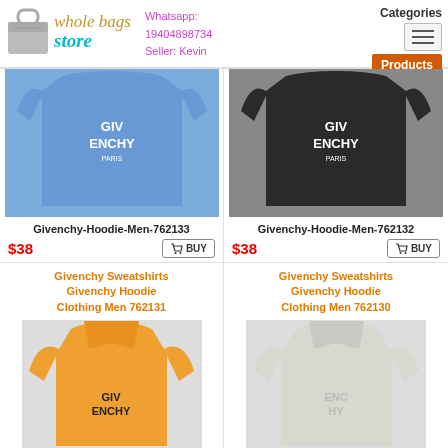Wholebags Store | Whatsapp: 19404898734 | Seller: Kevin | Categories | Products
[Figure (photo): Blue Givenchy hoodie/sweatshirt with white GIVENCHY logo on chest]
Givenchy-Hoodie-Men-762133
$38
[Figure (photo): Black Givenchy hoodie/sweatshirt with white GIVENCHY logo on chest]
Givenchy-Hoodie-Men-762132
$38
Givenchy Sweatshirts Givenchy Hoodie Clothing Men 762131
[Figure (photo): Orange/yellow Givenchy hoodie with dark GIVENCHY logo]
Givenchy Sweatshirts Givenchy Hoodie Clothing Men 762130
[Figure (photo): White/cream Givenchy hoodie with light GIVENCHY logo]